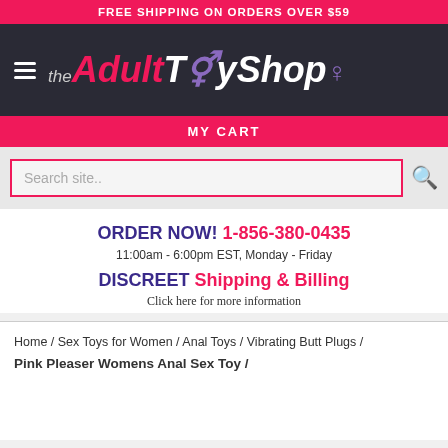FREE SHIPPING ON ORDERS OVER $59
[Figure (logo): The Adult Toy Shop logo with hamburger menu icon on dark background]
MY CART
Search site..
ORDER NOW! 1-856-380-0435
11:00am - 6:00pm EST, Monday - Friday
DISCREET Shipping & Billing
Click here for more information
Home / Sex Toys for Women / Anal Toys / Vibrating Butt Plugs / Pink Pleaser Womens Anal Sex Toy /